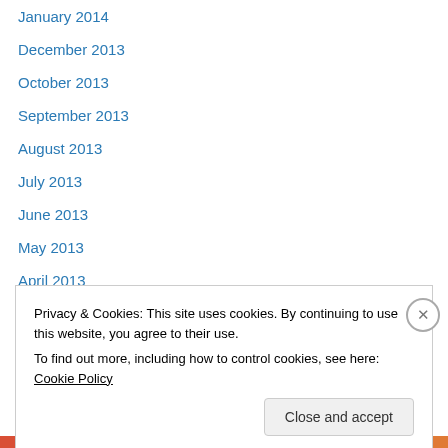January 2014
December 2013
October 2013
September 2013
August 2013
July 2013
June 2013
May 2013
April 2013
March 2013
February 2013
January 2013
December 2012
Privacy & Cookies: This site uses cookies. By continuing to use this website, you agree to their use. To find out more, including how to control cookies, see here: Cookie Policy